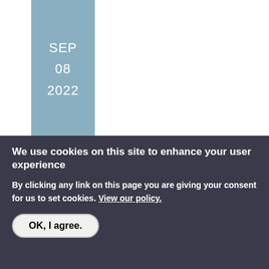[Figure (other): Date block showing SEP 08 2022 on a steel blue background]
IBERIA PERFORMING ARTS LEAGUE PRESENTS, "ROCK OF AGES"
Sept. 2-11, 2022. Live theatre production, concessions.
Admission: Yes
Phone: (337) 364-6114
126 Iberia St.
We use cookies on this site to enhance your user experience
By clicking any link on this page you are giving your consent for us to set cookies. View our policy.
OK, I agree.